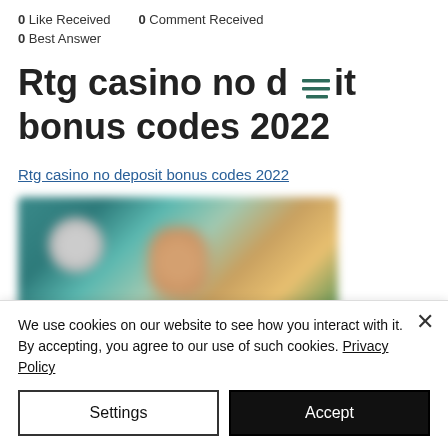0 Like Received   0 Comment Received
0 Best Answer
Rtg casino no deposit bonus codes 2022
Rtg casino no deposit bonus codes 2022
[Figure (photo): Blurred screenshot of a casino-related webpage]
We use cookies on our website to see how you interact with it. By accepting, you agree to our use of such cookies. Privacy Policy
Settings
Accept